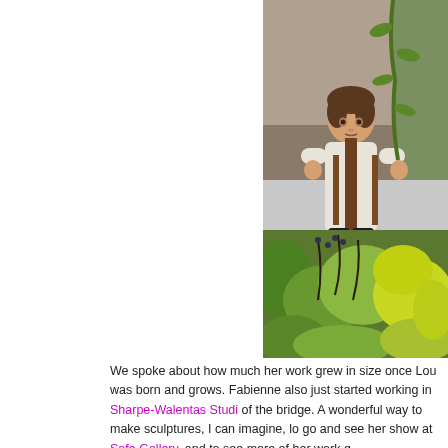[Figure (photo): A young child with short brown hair, wearing a white knit sweater with brown suspenders and dark pants, standing outdoors among leafy plants and foliage, with a concrete wall in the background.]
We spoke about how much her work grew in size once Lou was born and grows. Fabienne also just started working in Sharpe-Walentas Studio of the bridge. A wonderful way to make sculptures, I can imagine, go and see her show at Safe Gallery, and to see more of her work g